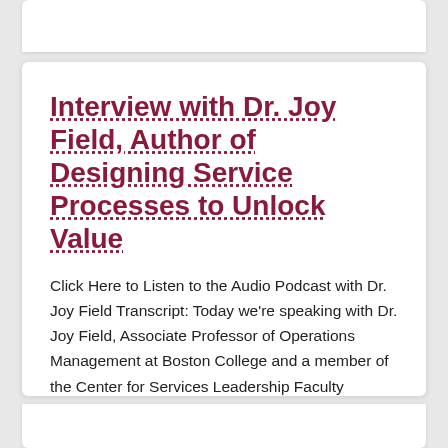Interview with Dr. Joy Field, Author of Designing Service Processes to Unlock Value
Click Here to Listen to the Audio Podcast with Dr. Joy Field Transcript: Today we're speaking with Dr. Joy Field, Associate Professor of Operations Management at Boston College and a member of the Center for Services Leadership Faculty Network. The second edition of Dr. Field's book, Designing Service Processes to Unlock Value, was published this ...